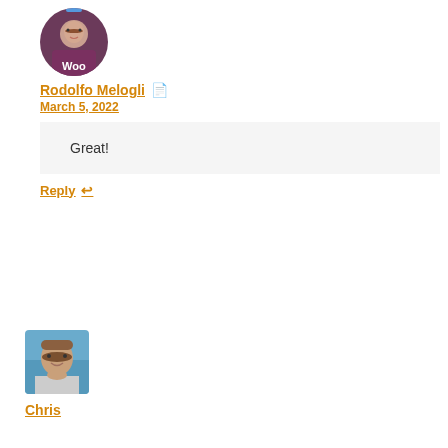[Figure (photo): Avatar photo of Rodolfo Melogli wearing a WooCommerce shirt]
Rodolfo Melogli 📄
March 5, 2022
Great!
Reply ↩
[Figure (photo): Avatar photo of Chris, a smiling man with beard outdoors]
Chris